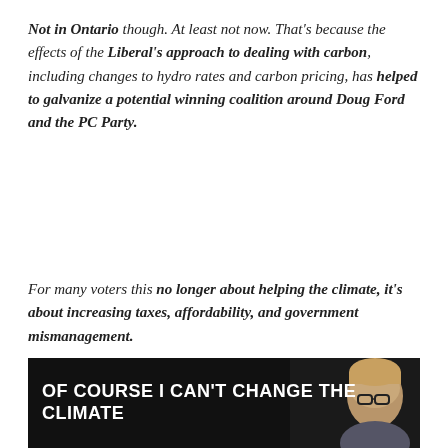Not in Ontario though. At least not now. That's because the effects of the Liberal's approach to dealing with carbon, including changes to hydro rates and carbon pricing, has helped to galvanize a potential winning coalition around Doug Ford and the PC Party.
For many voters this no longer about helping the climate, it's about increasing taxes, affordability, and government mismanagement.
[Figure (photo): Dark meme image with white bold text reading 'OF COURSE I CAN'T CHANGE THE CLIMATE' and a person visible in the lower right of the image]